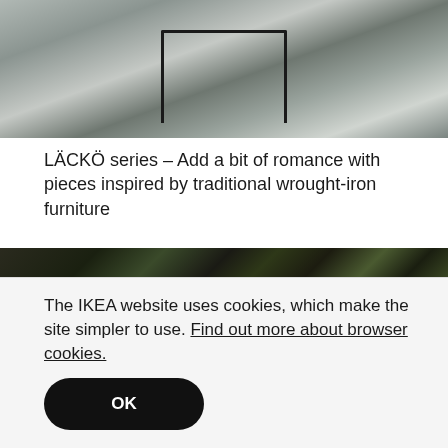[Figure (photo): Outdoor terrace with dark grey deck tiles, black wrought-iron table/chair furniture, plants in background]
LÄCKÖ series – Add a bit of romance with pieces inspired by traditional wrought-iron furniture
[Figure (photo): Outdoor kitchen setup with dark wooden slatted wall/fence, green climbing plants, wooden cabinets and table, black grill/BBQ, shelves with bottles and plants]
The IKEA website uses cookies, which make the site simpler to use. Find out more about browser cookies.
OK